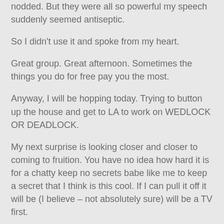nodded. But they were all so powerful my speech suddenly seemed antiseptic.
So I didn't use it and spoke from my heart.
Great group. Great afternoon. Sometimes the things you do for free pay you the most.
Anyway, I will be hopping today. Trying to button up the house and get to LA to work on WEDLOCK OR DEADLOCK.
My next surprise is looking closer and closer to coming to fruition. You have no idea how hard it is for a chatty keep no secrets babe like me to keep a secret that I think is this cool. If I can pull it off it will be (I believe – not absolutely sure) will be a TV first.